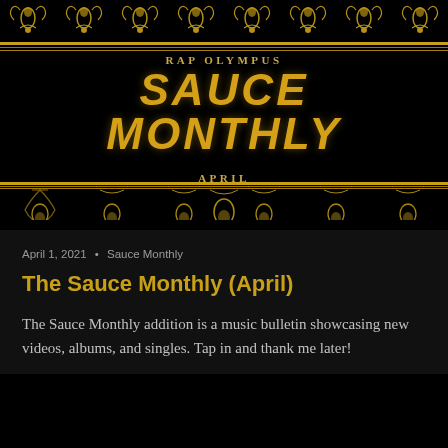[Figure (illustration): Decorative golden ornamental border with floral and baroque patterns on black background, top banner of Rap Olympus / Sauce Monthly magazine]
Rap Olympus
SAUCE MONTHLY
April
April 1, 2021 • Sauce Monthly
The Sauce Monthly (April)
The Sauce Monthly addition is a music bulletin showcasing new videos, albums, and singles. Tap in and thank me later!